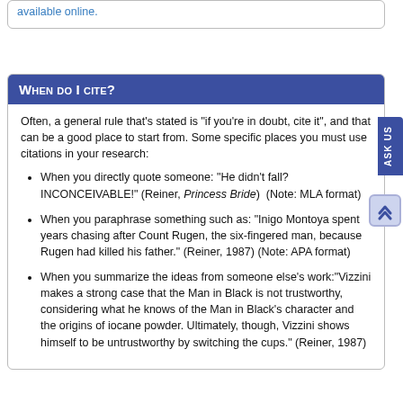available online.
When do I cite?
Often, a general rule that's stated is "if you're in doubt, cite it", and that can be a good place to start from. Some specific places you must use citations in your research:
When you directly quote someone: "He didn't fall? INCONCEIVABLE!" (Reiner, Princess Bride)  (Note: MLA format)
When you paraphrase something such as: "Inigo Montoya spent years chasing after Count Rugen, the six-fingered man, because Rugen had killed his father." (Reiner, 1987) (Note: APA format)
When you summarize the ideas from someone else's work:"Vizzini makes a strong case that the Man in Black is not trustworthy, considering what he knows of the Man in Black's character and the origins of iocane powder. Ultimately, though, Vizzini shows himself to be untrustworthy by switching the cups." (Reiner, 1987)